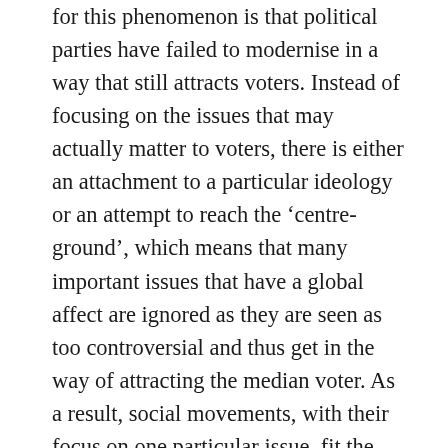for this phenomenon is that political parties have failed to modernise in a way that still attracts voters. Instead of focusing on the issues that may actually matter to voters, there is either an attachment to a particular ideology or an attempt to reach the ‘centre-ground’, which means that many important issues that have a global affect are ignored as they are seen as too controversial and thus get in the way of attracting the median voter. As a result, social movements, with their focus on one particular issue, fit the mould of what voters believe in a lot more than the political party. This further goes along with the individualised, liquid world in which we live in, where political movements that focus on one issue that has global